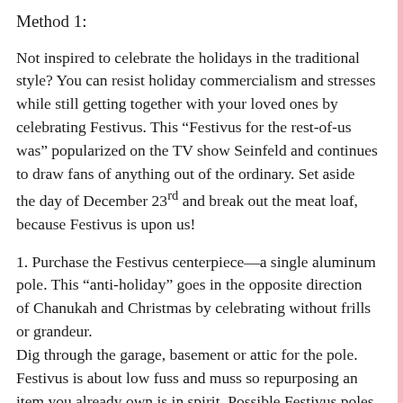Method 1:
Not inspired to celebrate the holidays in the traditional style? You can resist holiday commercialism and stresses while still getting together with your loved ones by celebrating Festivus. This “Festivus for the rest-of-us was” popularized on the TV show Seinfeld and continues to draw fans of anything out of the ordinary. Set aside the day of December 23rd and break out the meat loaf, because Festivus is upon us!
1. Purchase the Festivus centerpiece—a single aluminum pole. This “anti-holiday” goes in the opposite direction of Chanukah and Christmas by celebrating without frills or grandeur.
Dig through the garage, basement or attic for the pole. Festivus is about low fuss and muss so repurposing an item you already own is in spirit. Possible Festivus poles include an old lamp pole, curtain rod or even a long